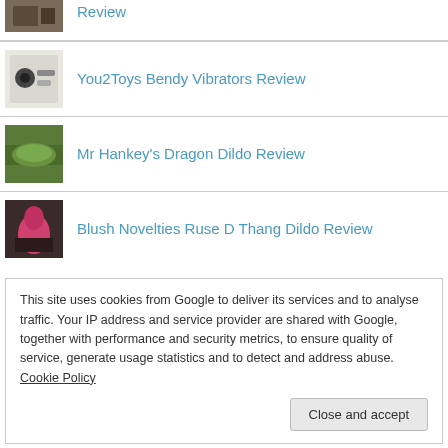Review
You2Toys Bendy Vibrators Review
Mr Hankey's Dragon Dildo Review
Blush Novelties Ruse D Thang Dildo Review
This site uses cookies from Google to deliver its services and to analyse traffic. Your IP address and service provider are shared with Google, together with performance and security metrics, to ensure quality of service, generate usage statistics and to detect and address abuse. Cookie Policy
Close and accept